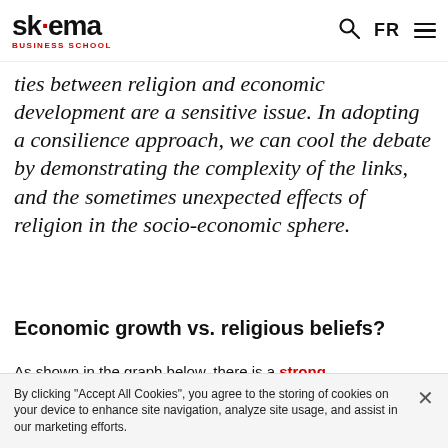SKEMA BUSINESS SCHOOL | FR
ties between religion and economic development are a sensitive issue. In adopting a consilience approach, we can cool the debate by demonstrating the complexity of the links, and the sometimes unexpected effects of religion in the socio-economic sphere.
Economic growth vs. religious beliefs?
As shown in the graph below, there is a strong
By clicking "Accept All Cookies", you agree to the storing of cookies on your device to enhance site navigation, analyze site usage, and assist in our marketing efforts.